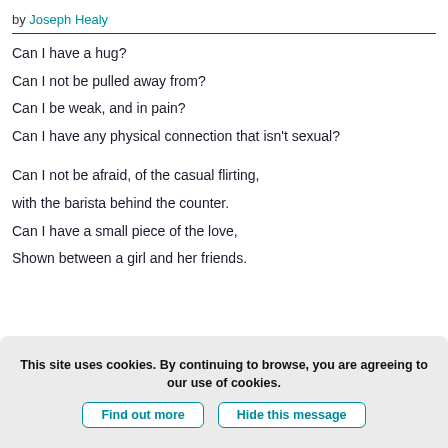by Joseph Healy
Can I have a hug?
Can I not be pulled away from?
Can I be weak, and in pain?
Can I have any physical connection that isn't sexual?
Can I not be afraid, of the casual flirting,
with the barista behind the counter.
Can I have a small piece of the love,
Shown between a girl and her friends.
This site uses cookies. By continuing to browse, you are agreeing to our use of cookies.